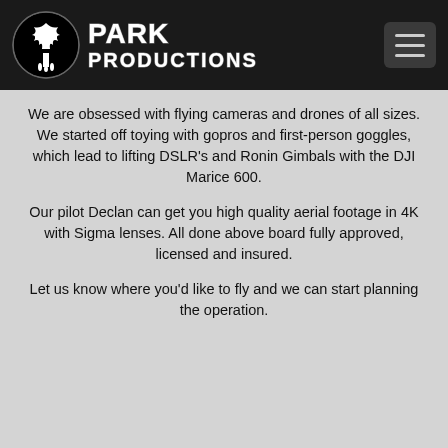[Figure (logo): Park Productions logo with circular tree emblem and graffiti-style text reading PARK PRODUCTIONS on dark header bar]
We are obsessed with flying cameras and drones of all sizes. We started off toying with gopros and first-person goggles, which lead to lifting DSLR's and Ronin Gimbals with the DJI Marice 600.
Our pilot Declan can get you high quality aerial footage in 4K with Sigma lenses. All done above board fully approved, licensed and insured.
Let us know where you'd like to fly and we can start planning the operation.